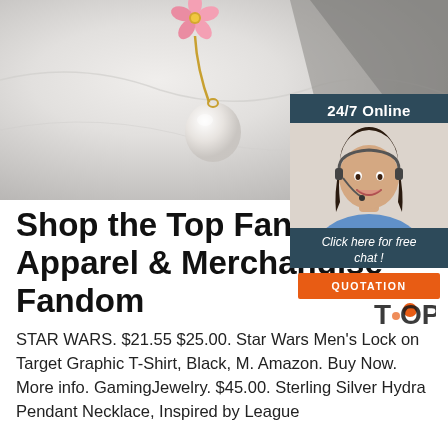[Figure (photo): Product photo of a pearl flower earring with white/pink flower top and pearl drop, on a light gray marble background. Dark shadow/surface visible in upper right corner.]
[Figure (infographic): 24/7 Online customer chat widget overlay showing a smiling female customer service agent with headset, text 'Click here for free chat!' and an orange QUOTATION button.]
Shop the Top Fan Based Apparel & Merchandise Fandom
STAR WARS. $21.55 $25.00. Star Wars Men's Lock on Target Graphic T-Shirt, Black, M. Amazon. Buy Now. More info. GamingJewelry. $45.00. Sterling Silver Hydra Pendant Necklace, Inspired by League